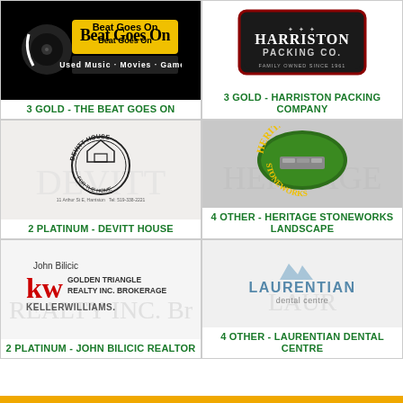[Figure (logo): The Beat Goes On - Used Music, Movies, Games logo on black background]
3 GOLD - THE BEAT GOES ON
[Figure (logo): Harriston Packing Co logo]
3 GOLD - HARRISTON PACKING COMPANY
[Figure (logo): Devitt House logo - circular design with house illustration]
2 PLATINUM - DEVITT HOUSE
[Figure (logo): Heritage Stoneworks Landscape logo - green oval badge]
4 OTHER - HERITAGE STONEWORKS LANDSCAPE
[Figure (logo): John Bilicic KW Golden Triangle Realty Inc. Brokerage - Keller Williams logo]
2 PLATINUM - JOHN BILICIC REALTOR
[Figure (logo): Laurentian Dental Centre logo with mountain graphic]
4 OTHER - LAURENTIAN DENTAL CENTRE